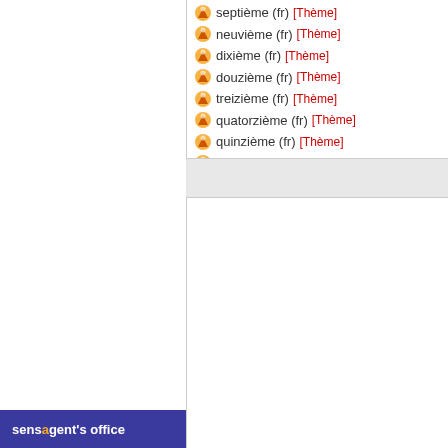septième (fr) [Thème]
neuvième (fr) [Thème]
dixième (fr) [Thème]
douzième (fr) [Thème]
treizième (fr) [Thème]
quatorzième (fr) [Thème]
quinzième (fr) [Thème]
qui vient après tous les autres (fr) [Thème]
-
sensagent's office